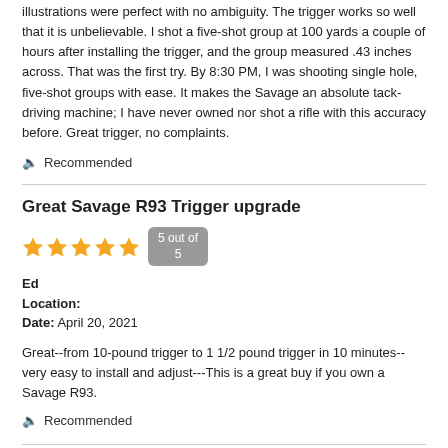illustrations were perfect with no ambiguity. The trigger works so well that it is unbelievable. I shot a five-shot group at 100 yards a couple of hours after installing the trigger, and the group measured .43 inches across. That was the first try. By 8:30 PM, I was shooting single hole, five-shot groups with ease. It makes the Savage an absolute tack-driving machine; I have never owned nor shot a rifle with this accuracy before. Great trigger, no complaints.
🔈 Recommended
Great Savage R93 Trigger upgrade
5 out of 5
Ed
Location:
Date: April 20, 2021
Great--from 10-pound trigger to 1 1/2 pound trigger in 10 minutes--very easy to install and adjust---This is a great buy if you own a Savage R93.
🔈 Recommended
Savage model 93 Trigger upograde
5 out of 5